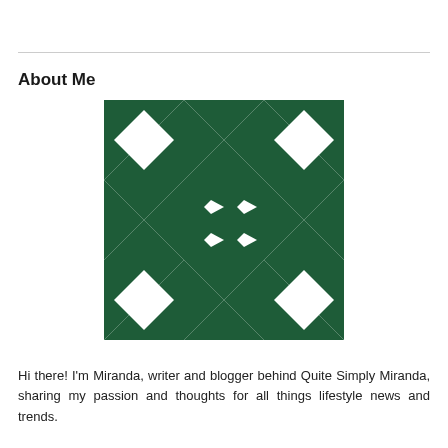About Me
[Figure (illustration): Decorative avatar image: a symmetrical quilt-pattern style design made of dark green geometric shapes (triangles, star/X shapes, diamonds) arranged in a square grid pattern on a white background.]
Hi there! I'm Miranda, writer and blogger behind Quite Simply Miranda, sharing my passion and thoughts for all things lifestyle news and trends.